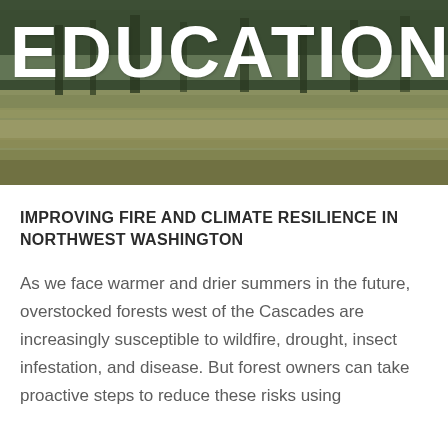[Figure (photo): Outdoor meadow and forest scene with trees in the background and tall grass in the foreground, serving as a hero background image.]
EDUCATION
IMPROVING FIRE AND CLIMATE RESILIENCE IN NORTHWEST WASHINGTON
As we face warmer and drier summers in the future, overstocked forests west of the Cascades are increasingly susceptible to wildfire, drought, insect infestation, and disease. But forest owners can take proactive steps to reduce these risks using